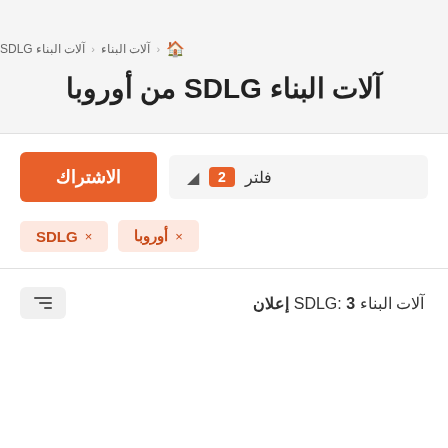🏠 ‹ آلات البناء ‹ آلات البناء SDLG
آلات البناء SDLG من أوروبا
الاشتراك
فلتر 2
SDLG ×
أوروبا ×
آلات البناء SDLG: 3 إعلان